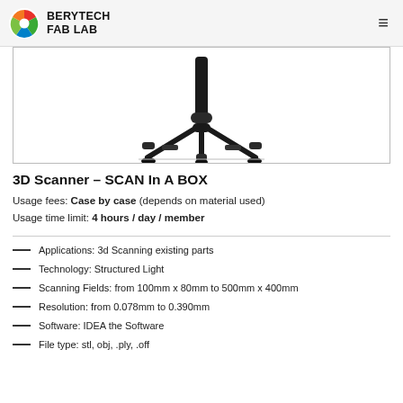BERYTECH FAB LAB
[Figure (photo): Close-up photo of the bottom of a 3D scanner tripod with black legs on a white background, inside a bordered box.]
3D Scanner – SCAN In A BOX
Usage fees: Case by case (depends on material used)
Usage time limit: 4 hours / day / member
Applications: 3d Scanning existing parts
Technology: Structured Light
Scanning Fields: from 100mm x 80mm to 500mm x 400mm
Resolution: from 0.078mm to 0.390mm
Software: IDEA the Software
File type: stl, obj, .ply, .off